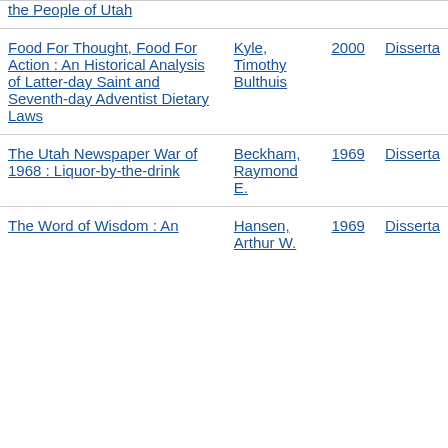| Title | Author | Year | Type |
| --- | --- | --- | --- |
| the People of Utah |  |  |  |
| Food For Thought, Food For Action : An Historical Analysis of Latter-day Saint and Seventh-day Adventist Dietary Laws | Kyle, Timothy Bulthuis | 2000 | Disserta… |
| The Utah Newspaper War of 1968 : Liquor-by-the-drink | Beckham, Raymond E. | 1969 | Disserta… |
| The Word of Wisdom : An… | Hansen, Arthur W… | 1969 | Disserta… |